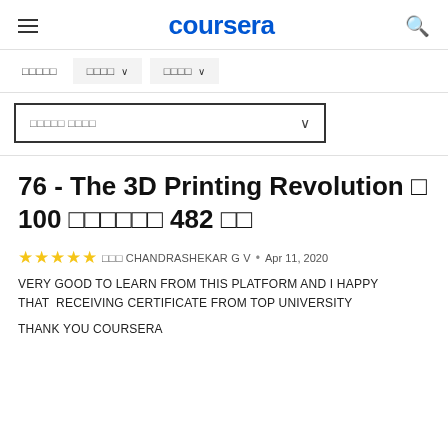coursera
□□□□□   □□□□ ∨   □□□□ ∨
□□□□□ □□□□ ∨
76 - The 3D Printing Revolution □ 100 □□□□□□ 482 □□
★★★★★ □□□ CHANDRASHEKAR G V • Apr 11, 2020
VERY GOOD TO LEARN FROM THIS PLATFORM AND I HAPPY THAT RECEIVING CERTIFICATE FROM TOP UNIVERSITY
THANK YOU COURSERA